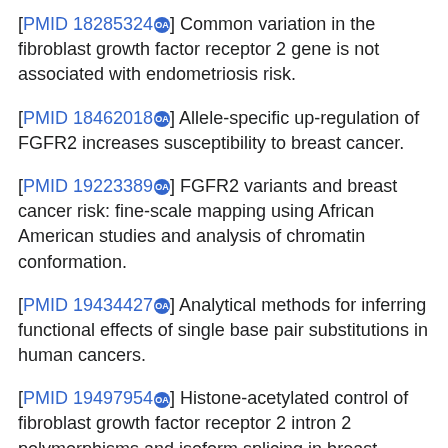[PMID 18285324] Common variation in the fibroblast growth factor receptor 2 gene is not associated with endometriosis risk.
[PMID 18462018] Allele-specific up-regulation of FGFR2 increases susceptibility to breast cancer.
[PMID 19223389] FGFR2 variants and breast cancer risk: fine-scale mapping using African American studies and analysis of chromatin conformation.
[PMID 19434427] Analytical methods for inferring functional effects of single base pair substitutions in human cancers.
[PMID 19497954] Histone-acetylated control of fibroblast growth factor receptor 2 intron 2 polymorphisms and isoform splicing in breast cancer.